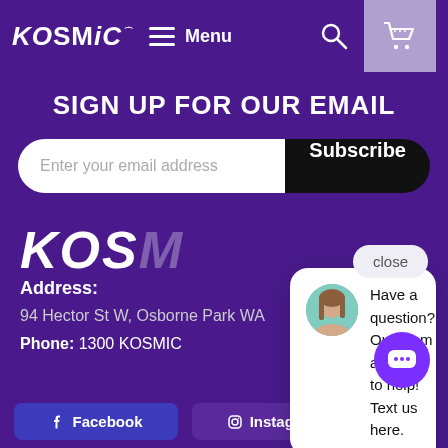KOSMIC ≡ Menu
SIGN UP FOR OUR EMAIL
Enter your email address  Subscribe
close
Have a question? Our team are here to help! Text us here.
KOSMIC
Address:
94 Hector St W, Osborne Park WA
Phone: 1300 KOSMIC
Facebook  Instagram